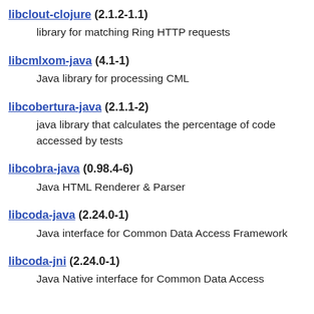libclout-clojure (2.1.2-1.1)
  library for matching Ring HTTP requests
libcmlxom-java (4.1-1)
  Java library for processing CML
libcobertura-java (2.1.1-2)
  java library that calculates the percentage of code accessed by tests
libcobra-java (0.98.4-6)
  Java HTML Renderer & Parser
libcoda-java (2.24.0-1)
  Java interface for Common Data Access Framework
libcoda-jni (2.24.0-1)
  Java Native interface for Common Data Access